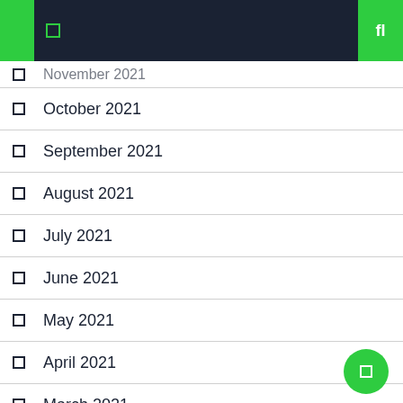Navigation bar with icons
November 2021
October 2021
September 2021
August 2021
July 2021
June 2021
May 2021
April 2021
March 2021
January 2021